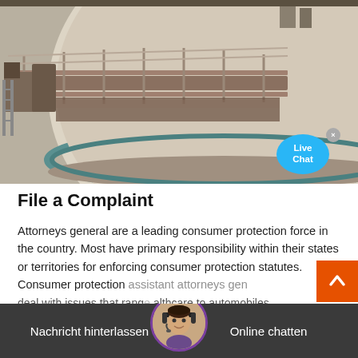[Figure (photo): Aerial view of a large circular industrial water treatment or settling tank with a metal walkway/bridge running across it. The tank contains pale liquid. Industrial infrastructure and piping visible around the tank.]
File a Complaint
Attorneys general are a leading consumer protection force in the country. Most have primary responsibility within their states or territories for enforcing consumer protection statutes. Consumer protection assistant attorneys general deal with issues that range from healthcare to automobiles to privacy, often working together across the states and
[Figure (screenshot): Live Chat bubble (cyan/blue circle with 'Live Chat' text) in top right of image, with a small close X button. Orange scroll-to-top button with upward chevron on right side. Bottom chat bar with dark background showing 'Nachricht hinterlassen' on left, a female customer service avatar in center, and 'Online chatten' on right.]